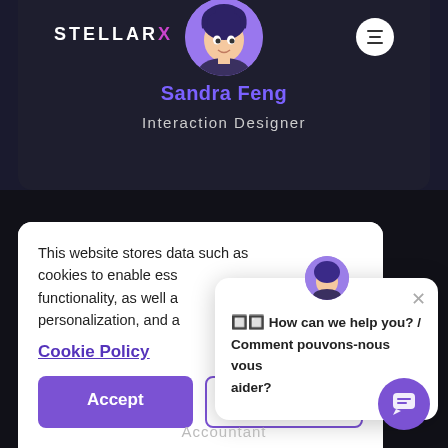[Figure (screenshot): StellarX app profile card showing Sandra Feng, Interaction Designer, on a dark background with hamburger menu button and avatar illustration]
Sandra Feng
Interaction Designer
This website stores data such as cookies to enable essential functionality, as well as personalization, and analytics.
Cookie Policy
Accept
Deny
🔲🔲 How can we help you? / Comment pouvons-nous vous aider?
Accountant